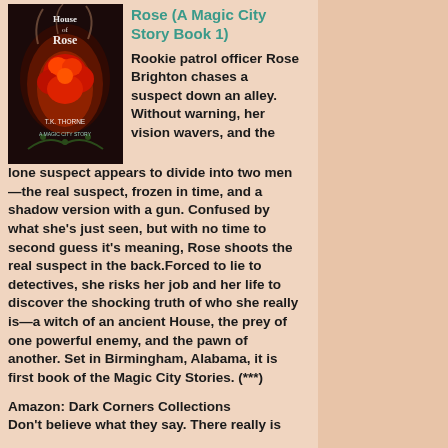[Figure (illustration): Book cover for 'House of Rose (A Magic City Story Book 1)' by T.K. Thorne, featuring a dark background with a glowing red rose surrounded by flames and smoke]
Rose (A Magic City Story Book 1)
Rookie patrol officer Rose Brighton chases a suspect down an alley. Without warning, her vision wavers, and the lone suspect appears to divide into two men—the real suspect, frozen in time, and a shadow version with a gun. Confused by what she's just seen, but with no time to second guess it's meaning, Rose shoots the real suspect in the back.Forced to lie to detectives, she risks her job and her life to discover the shocking truth of who she really is—a witch of an ancient House, the prey of one powerful enemy, and the pawn of another. Set in Birmingham, Alabama, it is first book of the Magic City Stories. (***)
Amazon: Dark Corners Collections
Don't believe what they say. There really is